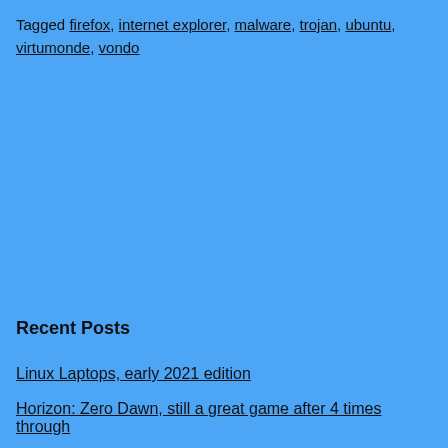Tagged firefox, internet explorer, malware, trojan, ubuntu, virtumonde, vondo
Recent Posts
Linux Laptops, early 2021 edition
Horizon: Zero Dawn, still a great game after 4 times through